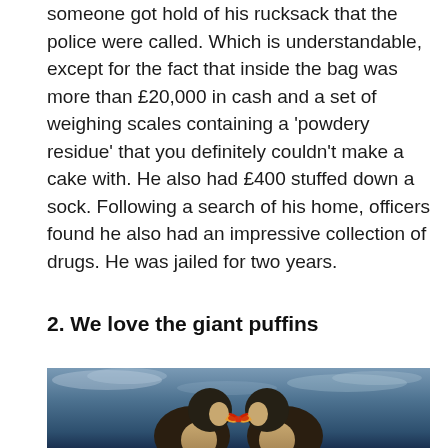someone got hold of his rucksack that the police were called. Which is understandable, except for the fact that inside the bag was more than £20,000 in cash and a set of weighing scales containing a 'powdery residue' that you definitely couldn't make a cake with. He also had £400 stuffed down a sock. Following a search of his home, officers found he also had an impressive collection of drugs. He was jailed for two years.
2. We love the giant puffins
[Figure (photo): Two puffins facing each other and touching beaks, set against a dramatic cloudy blue sky background. HDR-style photograph with vivid colors.]